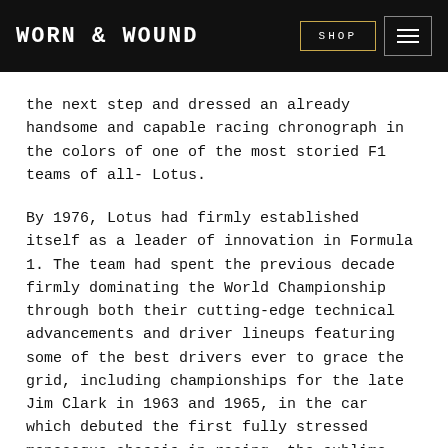WORN & WOUND | SHOP
the next step and dressed an already handsome and capable racing chronograph in the colors of one of the most storied F1 teams of all- Lotus.
By 1976, Lotus had firmly established itself as a leader of innovation in Formula 1. The team had spent the previous decade firmly dominating the World Championship through both their cutting-edge technical advancements and driver lineups featuring some of the best drivers ever to grace the grid, including championships for the late Jim Clark in 1963 and 1965, in the car which debuted the first fully stressed monocoque chassis in racing, the sublime Lotus 25 and its direct evolution the Lotus 33.